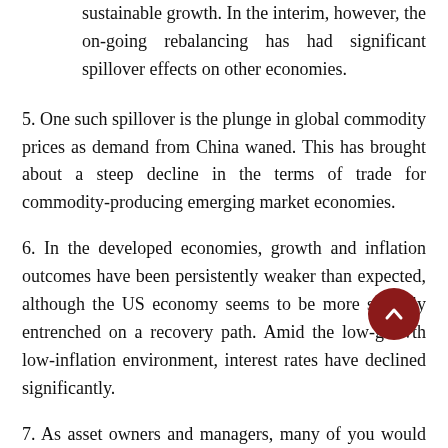sustainable growth. In the interim, however, the on-going rebalancing has had significant spillover effects on other economies.
5. One such spillover is the plunge in global commodity prices as demand from China waned. This has brought about a steep decline in the terms of trade for commodity-producing emerging market economies.
6. In the developed economies, growth and inflation outcomes have been persistently weaker than expected, although the US economy seems to be more strongly entrenched on a recovery path. Amid the low-growth low-inflation environment, interest rates have declined significantly.
7. As asset owners and managers, many of you would be accustomed to periodic bouts of market stresses. Headline-